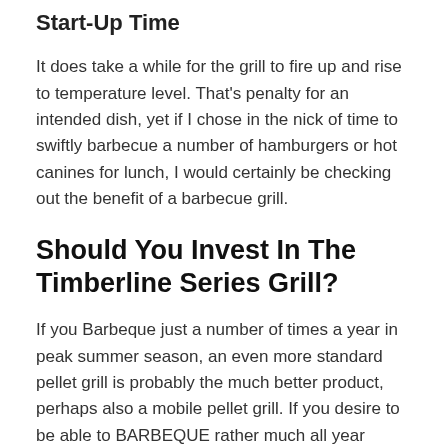Start-Up Time
It does take a while for the grill to fire up and rise to temperature level. That’s penalty for an intended dish, yet if I chose in the nick of time to swiftly barbecue a number of hamburgers or hot canines for lunch, I would certainly be checking out the benefit of a barbecue grill.
Should You Invest In The Timberline Series Grill?
If you Barbeque just a number of times a year in peak summer season, an even more standard pellet grill is probably the much better product, perhaps also a mobile pellet grill. If you desire to be able to BARBEQUE rather much all year round as well as get regular high quality food no